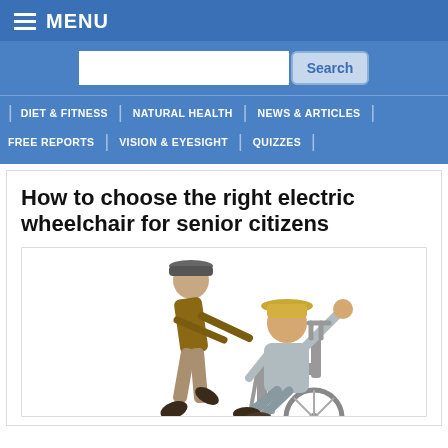MENU
DIET & FITNESS | NATURAL HEALTH | NEWS & ARTICLES | FREE REPORTS | VISION & EYESIGHT | QUIZZES
How to choose the right electric wheelchair for senior citizens
[Figure (photo): Two elderly men, one pushing the other in a wheelchair with arm raised in celebration, isolated on white background]